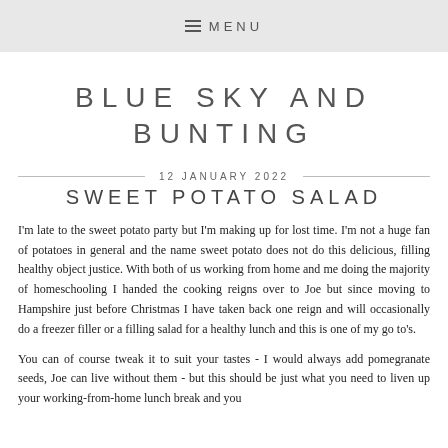≡ MENU
BLUE SKY AND BUNTING
12 JANUARY 2022
SWEET POTATO SALAD
I'm late to the sweet potato party but I'm making up for lost time. I'm not a huge fan of potatoes in general and the name sweet potato does not do this delicious, filling healthy object justice. With both of us working from home and me doing the majority of homeschooling I handed the cooking reigns over to Joe but since moving to Hampshire just before Christmas I have taken back one reign and will occasionally do a freezer filler or a filling salad for a healthy lunch and this is one of my go to's.
You can of course tweak it to suit your tastes - I would always add pomegranate seeds, Joe can live without them - but this should be just what you need to liven up your working-from-home lunch break and you